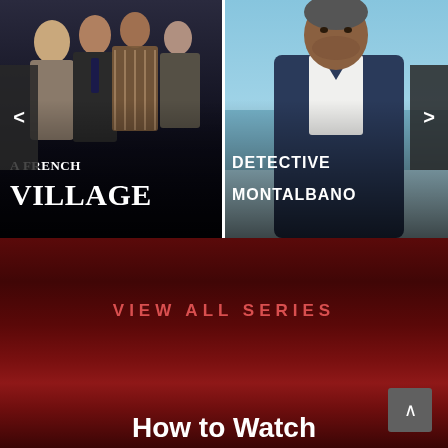[Figure (photo): Left movie poster for 'A French Village' showing group of people in winter coats, dark moody atmosphere with white serif title text]
[Figure (photo): Right movie poster for 'Detective Montalbano' showing a man in a navy jacket against a coastal/sea background with bold uppercase title text]
VIEW ALL SERIES
How to Watch